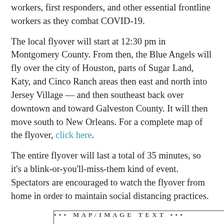workers, first responders, and other essential frontline workers as they combat COVID-19.
The local flyover will start at 12:30 pm in Montgomery County. From then, the Blue Angels will fly over the city of Houston, parts of Sugar Land, Katy, and Cinco Ranch areas then east and north into Jersey Village — and then southeast back over downtown and toward Galveston County. It will then move south to New Orleans. For a complete map of the flyover, click here.
The entire flyover will last a total of 35 minutes, so it's a blink-or-you'll-miss-them kind of event. Spectators are encouraged to watch the flyover from home in order to maintain social distancing practices.
[Figure (other): Partially visible image at the bottom of the page, showing what appears to be text or a map graphic, cut off at the bottom edge.]